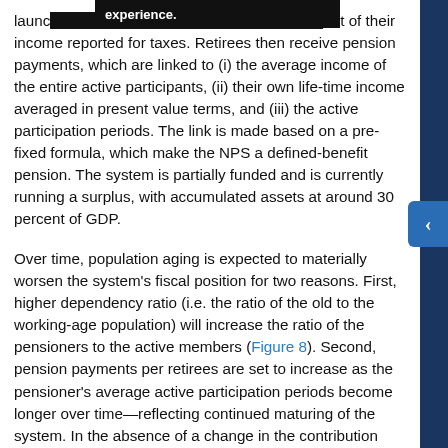launc... ent of their income reported for taxes. Retirees then receive pension payments, which are linked to (i) the average income of the entire active participants, (ii) their own life-time income averaged in present value terms, and (iii) the active participation periods. The link is made based on a pre-fixed formula, which make the NPS a defined-benefit pension. The system is partially funded and is currently running a surplus, with accumulated assets at around 30 percent of GDP.
Over time, population aging is expected to materially worsen the system's fiscal position for two reasons. First, higher dependency ratio (i.e. the ratio of the old to the working-age population) will increase the ratio of the pensioners to the active members (Figure 8). Second, pension payments per retirees are set to increase as the pensioner's average active participation periods become longer over time—reflecting continued maturing of the system. In the absence of a change in the contribution rate or the benefits formula, these developments will lead to a worsening of the system's primary fiscal balance (i.e.,